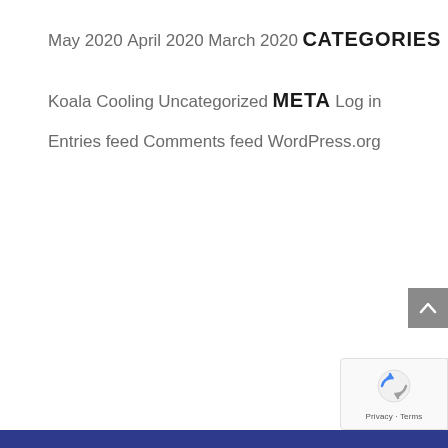May 2020
April 2020
March 2020
CATEGORIES
Koala Cooling
Uncategorized
META
Log in
Entries feed
Comments feed
WordPress.org